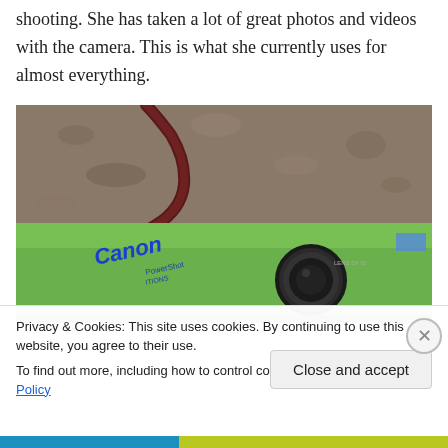shooting. She has taken a lot of great photos and videos with the camera. This is what she currently uses for almost everything.
[Figure (photo): A green Canon PowerShot camera lying on a granite/stone surface with a dark red wrist strap looped above it.]
Privacy & Cookies: This site uses cookies. By continuing to use this website, you agree to their use.
To find out more, including how to control cookies, see here: Cookie Policy